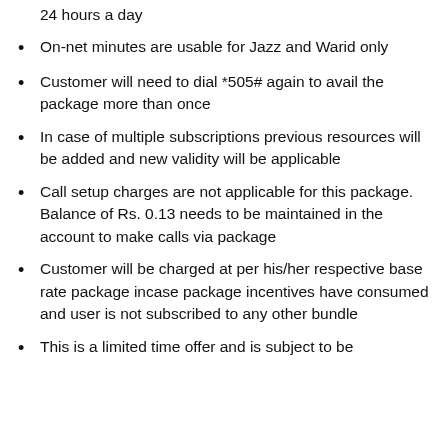24 hours a day
On-net minutes are usable for Jazz and Warid only
Customer will need to dial *505# again to avail the package more than once
In case of multiple subscriptions previous resources will be added and new validity will be applicable
Call setup charges are not applicable for this package. Balance of Rs. 0.13 needs to be maintained in the account to make calls via package
Customer will be charged at per his/her respective base rate package incase package incentives have consumed and user is not subscribed to any other bundle
This is a limited time offer and is subject to be